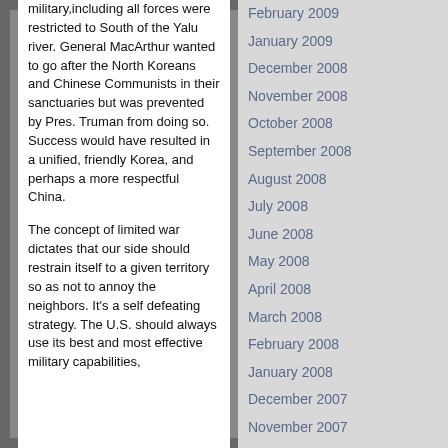military,including all forces were restricted to South of the Yalu river. General MacArthur wanted to go after the North Koreans and Chinese Communists in their sanctuaries but was prevented by Pres. Truman from doing so. Success would have resulted in a unified, friendly Korea, and perhaps a more respectful China.
The concept of limited war dictates that our side should restrain itself to a given territory so as not to annoy the neighbors. It's a self defeating strategy. The U.S. should always use its best and most effective military capabilities,
February 2009
January 2009
December 2008
November 2008
October 2008
September 2008
August 2008
July 2008
June 2008
May 2008
April 2008
March 2008
February 2008
January 2008
December 2007
November 2007
October 2007
September 2007
August 2007
July 2007
June 2007
May 2007